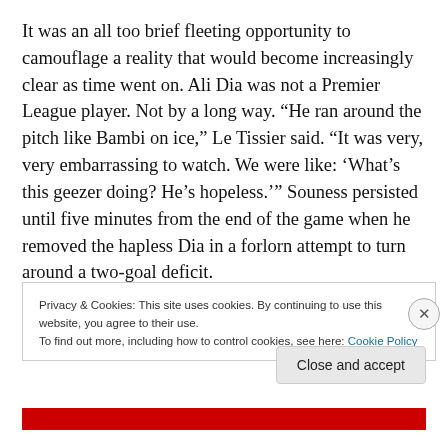It was an all too brief fleeting opportunity to camouflage a reality that would become increasingly clear as time went on. Ali Dia was not a Premier League player. Not by a long way. “He ran around the pitch like Bambi on ice,” Le Tissier said. “It was very, very embarrassing to watch. We were like: ‘What’s this geezer doing? He’s hopeless.’” Souness persisted until five minutes from the end of the game when he removed the hapless Dia in a forlorn attempt to turn around a two-goal deficit.
Privacy & Cookies: This site uses cookies. By continuing to use this website, you agree to their use.
To find out more, including how to control cookies, see here: Cookie Policy